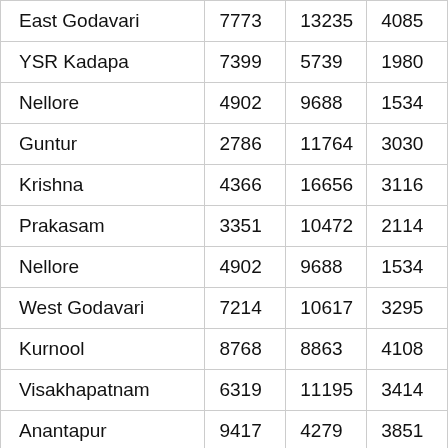| East Godavari | 7773 | 13235 | 4085 |
| YSR Kadapa | 7399 | 5739 | 1980 |
| Nellore | 4902 | 9688 | 1534 |
| Guntur | 2786 | 11764 | 3030 |
| Krishna | 4366 | 16656 | 3116 |
| Prakasam | 3351 | 10472 | 2114 |
| Nellore | 4902 | 9688 | 1534 |
| West Godavari | 7214 | 10617 | 3295 |
| Kurnool | 8768 | 8863 | 4108 |
| Visakhapatnam | 6319 | 11195 | 3414 |
| Anantapur | 9417 | 4279 | 3851 |